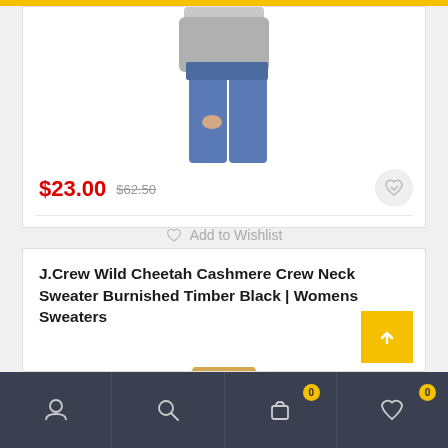[Figure (photo): Partial view of a woman wearing blue jeans and a gray top, showing torso and legs]
$23.00 $62.50
Add to Wishlist
J.Crew Wild Cheetah Cashmere Crew Neck Sweater Burnished Timber Black | Womens Sweaters
[Figure (photo): Blonde woman wearing a sweater, showing head and upper torso]
Account Search Cart 0 Wishlist 0